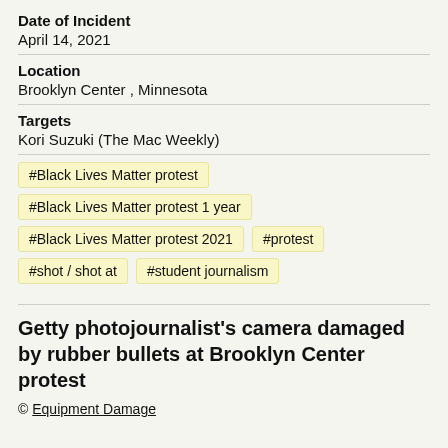Date of Incident
April 14, 2021
Location
Brooklyn Center , Minnesota
Targets
Kori Suzuki (The Mac Weekly)
#Black Lives Matter protest
#Black Lives Matter protest 1 year
#Black Lives Matter protest 2021
#protest
#shot / shot at
#student journalism
Getty photojournalist's camera damaged by rubber bullets at Brooklyn Center protest
© Equipment Damage